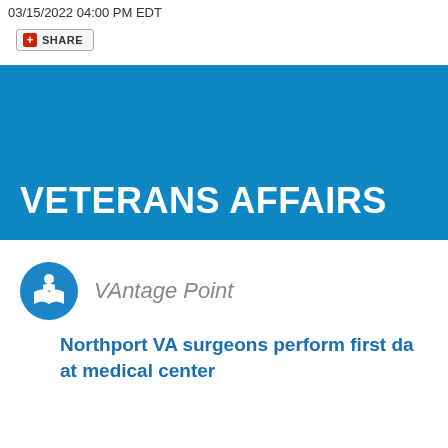03/15/2022 04:00 PM EDT
[Figure (other): Share button with red plus icon and SHARE label]
[Figure (other): Blue banner with white bold text VETERANS AFFAIRS]
[Figure (logo): VAntage Point circular blue icon with person reading a book, italic text VAntage Point]
Northport VA surgeons perform first da... at medical center